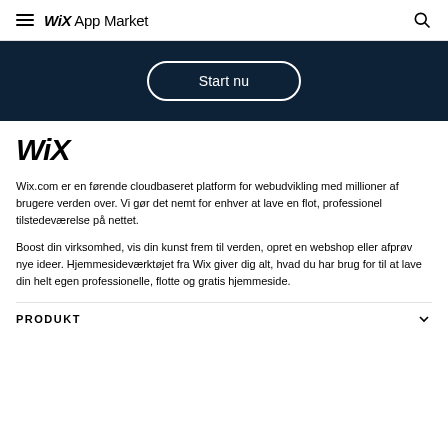WiX App Market
[Figure (screenshot): Dark navy banner with 'Start nu' button (rounded outline style)]
WiX
Wix.com er en førende cloudbaseret platform for webudvikling med millioner af brugere verden over. Vi gør det nemt for enhver at lave en flot, professionel tilstedeværelse på nettet.
Boost din virksomhed, vis din kunst frem til verden, opret en webshop eller afprøv nye ideer. Hjemmesideværktøjet fra Wix giver dig alt, hvad du har brug for til at lave din helt egen professionelle, flotte og gratis hjemmeside.
PRODUKT